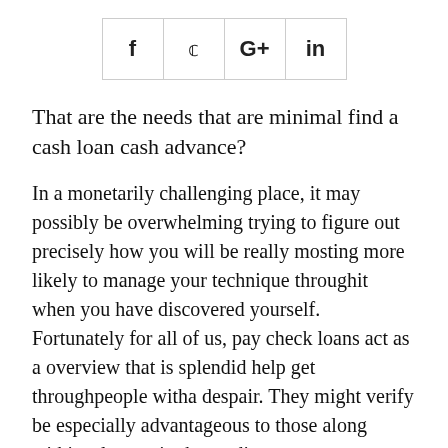[Figure (other): Social share buttons row with icons for Facebook (f), Twitter (bird), Google+ (G+), and LinkedIn (in), each in a bordered cell]
That are the needs that are minimal find a cash loan cash advance?
In a monetarily challenging place, it may possibly be overwhelming trying to figure out precisely how you will be really mosting more likely to manage your technique throughit when you have discovered yourself. Fortunately for all of us, pay check loans act as a overview that is splendid help get throughpeople witha despair. They might verify be especially advantageous to those along withinsolvency in the credit score or even to those